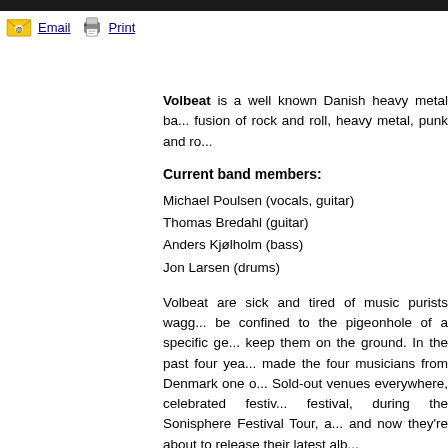Email  Print
Volbeat is a well known Danish heavy metal ba... fusion of rock and roll, heavy metal, punk and ro...
Current band members:
Michael Poulsen (vocals, guitar)
Thomas Bredahl (guitar)
Anders Kjølholm (bass)
Jon Larsen (drums)
Volbeat are sick and tired of music purists wagg... be confined to the pigeonhole of a specific ge... keep them on the ground. In the past four yea... made the four musicians from Denmark one o... Sold-out venues everywhere, celebrated festiv... festival, during the Sonisphere Festival Tour, a... and now they're about to release their latest alb...
13 September will see the arrival of the 13-tra... previous four releases, the band has succeed... Fifties with that metal flair. If you were to dra...